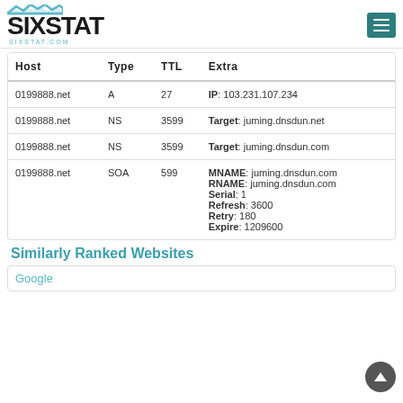SIXSTAT - sixstat.com
| Host | Type | TTL | Extra |
| --- | --- | --- | --- |
| 0199888.net | A | 27 | IP: 103.231.107.234 |
| 0199888.net | NS | 3599 | Target: juming.dnsdun.net |
| 0199888.net | NS | 3599 | Target: juming.dnsdun.com |
| 0199888.net | SOA | 599 | MNAME: juming.dnsdun.com
RNAME: juming.dnsdun.com
Serial: 1
Refresh: 3600
Retry: 180
Expire: 1209600 |
Similarly Ranked Websites
Google